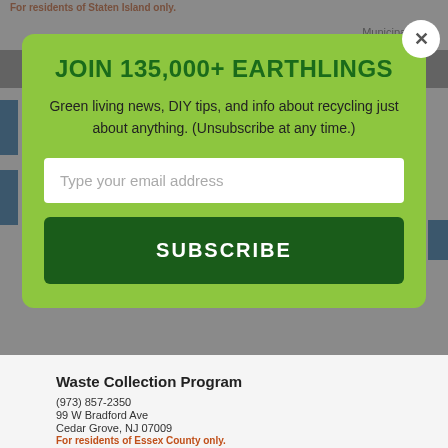For residents of Staten Island only.
Municipal Pro...
[Figure (screenshot): Background webpage content showing municipal waste collection listings with blue sidebar elements]
JOIN 135,000+ EARTHLINGS
Green living news, DIY tips, and info about recycling just about anything. (Unsubscribe at any time.)
Type your email address
SUBSCRIBE
Waste Collection Program
(973) 857-2350
99 W Bradford Ave
Cedar Grove, NJ 07009
For residents of Essex County only.